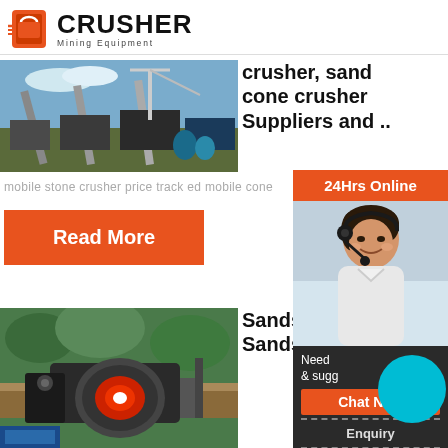CRUSHER Mining Equipment
[Figure (photo): Industrial mining/crushing facility with conveyor belts and equipment against sky]
crusher, sand cone crusher Suppliers and ..
mobile stone crusher price track ed mobile cone
Read More
[Figure (photo): Close-up of industrial roller/crusher machinery]
Sands Crush Sands
[Figure (photo): 24Hrs Online customer service representative with headset]
Need & sugg
Chat Now
Enquiry
limingjlmofen@sina.com